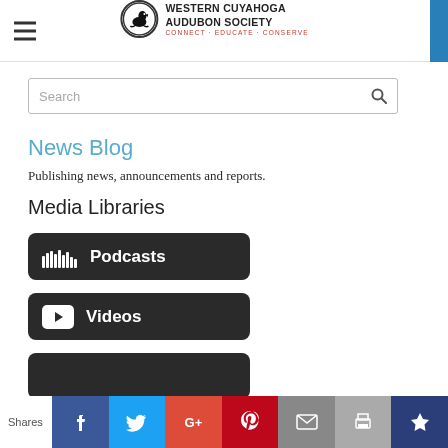Western Cuyahoga Audubon Society — CONNECT · EDUCATE · CONSERVE
[Figure (screenshot): Search input box with placeholder text 'Search' and a magnifying glass icon on the right]
News Blog
Publishing news, announcements and reports.
Media Libraries
[Figure (screenshot): Dark rounded button with SoundCloud waveform icon and text 'Podcasts']
[Figure (screenshot): Dark rounded button with YouTube play icon and text 'Videos']
[Figure (screenshot): Partially visible dark rounded button at bottom]
Shares — Facebook, Twitter, Google+, Pinterest, Email, Print, Other share buttons